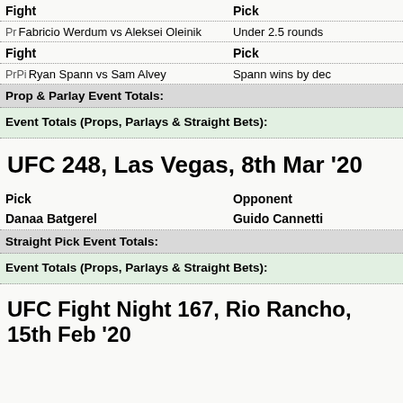| Fight | Pick |
| --- | --- |
| Pr Fabricio Werdum vs Aleksei Oleinik | Under 2.5 rounds |
| PrPi Ryan Spann vs Sam Alvey | Spann wins by dec |
Prop & Parlay Event Totals:
Event Totals (Props, Parlays & Straight Bets):
UFC 248, Las Vegas, 8th Mar '20
| Pick | Opponent |
| --- | --- |
| Danaa Batgerel | Guido Cannetti |
Straight Pick Event Totals:
Event Totals (Props, Parlays & Straight Bets):
UFC Fight Night 167, Rio Rancho, 15th Feb '20